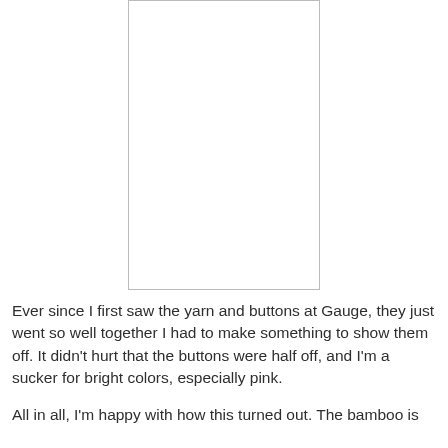[Figure (other): A blank white rectangular image placeholder with a thin gray border, portrait orientation.]
Ever since I first saw the yarn and buttons at Gauge, they just went so well together I had to make something to show them off.  It didn't hurt that the buttons were half off, and I'm a sucker for bright colors, especially pink.
All in all, I'm happy with how this turned out.  The bamboo is